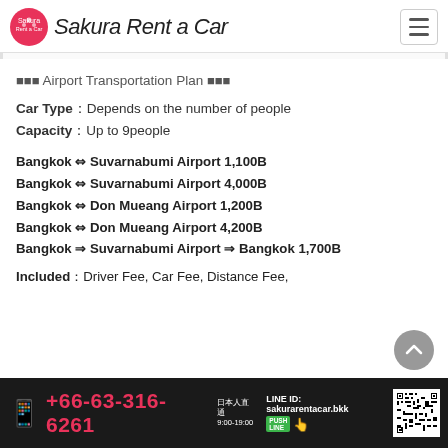Sakura Rent a Car
■■■ Airport Transportation Plan ■■■
Car Type：Depends on the number of people
Capacity：Up to 9people
Bangkok ⇔ Suvarnabumi Airport 1,100B
Bangkok ⇔ Suvarnabumi Airport 4,000B
Bangkok ⇔ Don Mueang Airport 1,200B
Bangkok ⇔ Don Mueang Airport 4,200B
Bangkok ⇒ Suvarnabumi Airport ⇒ Bangkok 1,700B
Included：Driver Fee, Car Fee, Distance Fee,
+66-63-316-6261  LINE ID: sakurarentacar.bkk